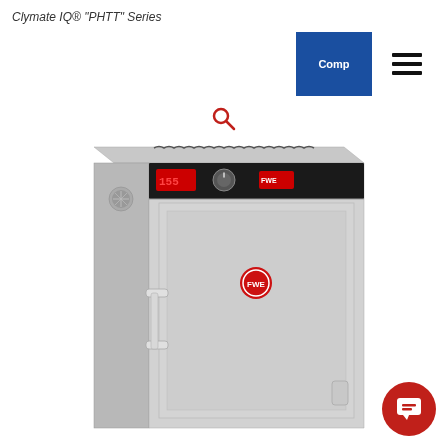Clymate IQ® "PHTT" Series
[Figure (screenshot): Navigation bar with blue Compare button and hamburger menu icon]
[Figure (illustration): Search (magnifying glass) icon]
[Figure (photo): FWE Clymate IQ PHTT Series stainless steel heated holding cabinet with digital control panel on top, two handles on the left door, and brand logo on door front, shown in 3/4 perspective view]
[Figure (illustration): Red circular chat/support button with speech bubble icon in lower right corner]